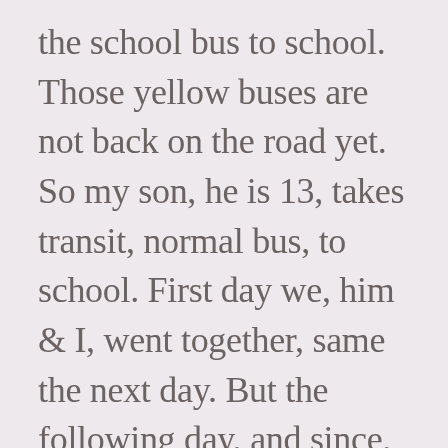the school bus to school. Those yellow buses are not back on the road yet. So my son, he is 13, takes transit, normal bus, to school. First day we, him & I, went together, same the next day. But the following day, and since, he has been riding the bus to school himself. It’s only 4 stops, he can handle that